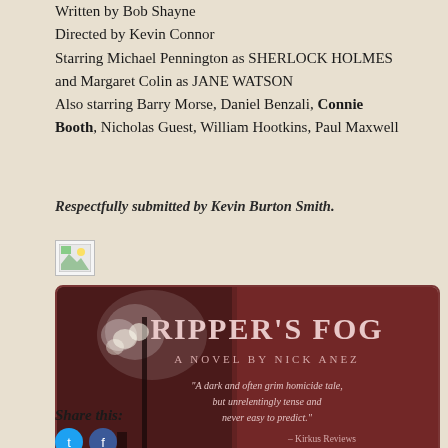Written by Bob Shayne
Directed by Kevin Connor
Starring Michael Pennington as SHERLOCK HOLMES
and Margaret Colin as JANE WATSON
Also starring Barry Morse, Daniel Benzali, Connie Booth, Nicholas Guest, William Hootkins, Paul Maxwell
Respectfully submitted by Kevin Burton Smith.
[Figure (photo): Small broken/placeholder image icon]
[Figure (illustration): Ripper's Fog book advertisement banner with dark red/maroon background. Text: RIPPER'S FOG, A NOVEL BY NICK ANEZ, quote: 'A dark and often grim homicide tale, but unrelentingly tense and never easy to predict.' - Kirkus Reviews. Left side shows foggy street lamp scene.]
Share this: